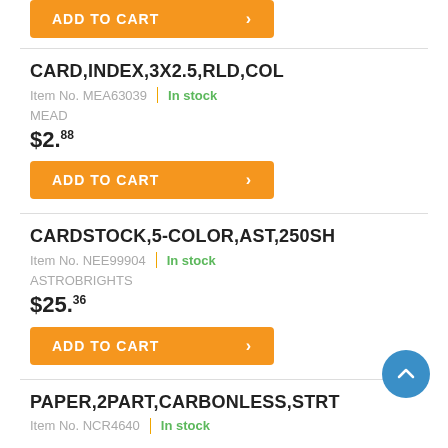[Figure (other): Partial orange ADD TO CART button at top of page]
CARD,INDEX,3X2.5,RLD,COL
Item No. MEA63039 | In stock
MEAD
$2.88
[Figure (other): Orange ADD TO CART button with arrow]
CARDSTOCK,5-COLOR,AST,250SH
Item No. NEE99904 | In stock
ASTROBRIGHTS
$25.36
[Figure (other): Orange ADD TO CART button with arrow]
[Figure (other): Blue circle scroll-to-top button with up chevron]
PAPER,2PART,CARBONLESS,STRT
Item No. NCR4640 | In stock